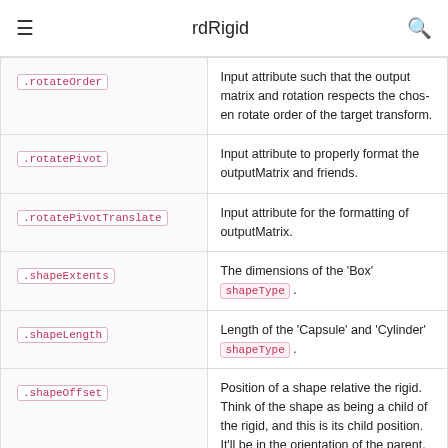rdRigid
| Attribute | Description |
| --- | --- |
| .rotateOrder | Input attribute such that the output matrix and rotation respects the chosen rotate order of the target transform. |
| .rotatePivot | Input attribute to properly format the outputMatrix and friends. |
| .rotatePivotTranslate | Input attribute for the formatting of outputMatrix. |
| .shapeExtents | The dimensions of the 'Box' shapeType . |
| .shapeLength | Length of the 'Capsule' and 'Cylinder' shapeType . |
| .shapeOffset | Position of a shape relative the rigid. Think of the shape as being a child of the rigid, and this is its child position. It'll be in the orientation of the parent. |